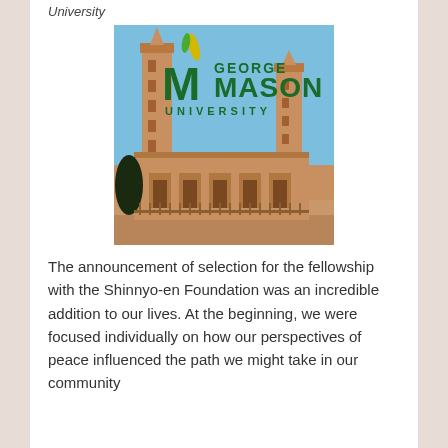University
[Figure (photo): Photograph of a mosque with two tall minarets against a blue sky, overlaid with George Mason University logo (green text with yellow flame/leaf emblem)]
The announcement of selection for the fellowship with the Shinnyo-en Foundation was an incredible addition to our lives. At the beginning, we were focused individually on how our perspectives of peace influenced the path we might take in our community